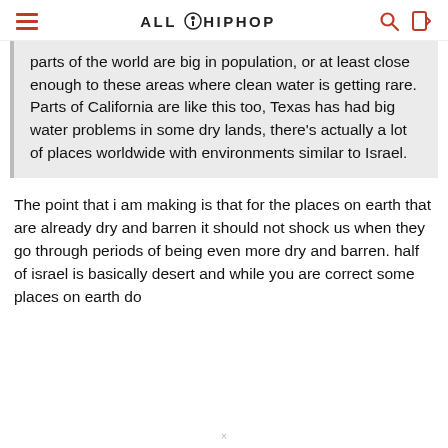ALL HIP HOP
parts of the world are big in population, or at least close enough to these areas where clean water is getting rare. Parts of California are like this too, Texas has had big water problems in some dry lands, there's actually a lot of places worldwide with environments similar to Israel.
The point that i am making is that for the places on earth that are already dry and barren it should not shock us when they go through periods of being even more dry and barren. half of israel is basically desert and while you are correct some places on earth do